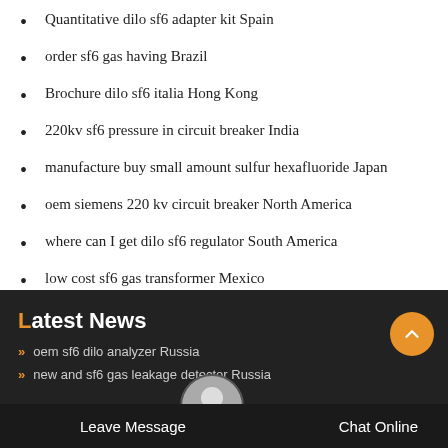Quantitative dilo sf6 adapter kit Spain
order sf6 gas having Brazil
Brochure dilo sf6 italia Hong Kong
220kv sf6 pressure in circuit breaker India
manufacture buy small amount sulfur hexafluoride Japan
oem siemens 220 kv circuit breaker North America
where can I get dilo sf6 regulator South America
low cost sf6 gas transformer Mexico
Latest News
oem sf6 dilo analyzer Russia
new and sf6 gas leakage detector Russia
Leave Message
Chat Online